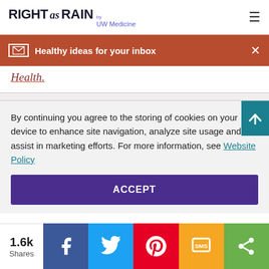RIGHT as RAIN by UW Medicine
Healthy ideas for your inbox
Health.
By continuing you agree to the storing of cookies on your device to enhance site navigation, analyze site usage and assist in marketing efforts. For more information, see Website Policy
ACCEPT
1.6k Shares